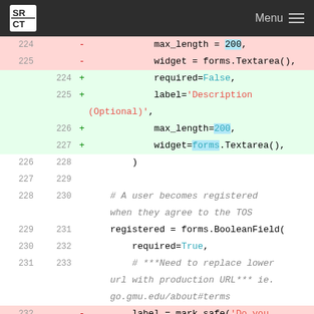SRCT Menu
[Figure (screenshot): Code diff view showing Python form field changes. Lines 224-225 removed (max_length=200, widget=forms.Textarea()), lines 224-227 added (required=False, label='Description (Optional)', max_length=200, widget=forms.Textarea()), context lines 226-231 showing closing paren, blank lines, comment '# A user becomes registered when they agree to the TOS', registered = forms.BooleanField(, required=True,, comment '# ***Need to replace lower url with production URL*** ie. go.gmu.edu/about#terms'), line 232 removed (label = mark_safe('Do you accept the <a href="http://127.0.0.1:8000/about#terms">Terms of Service</a>?'),]